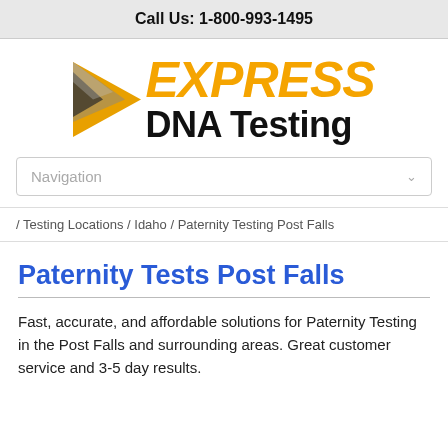Call Us: 1-800-993-1495
[Figure (logo): Express DNA Testing logo with orange arrow graphic and bold text]
Navigation
/ Testing Locations / Idaho / Paternity Testing Post Falls
Paternity Tests Post Falls
Fast, accurate, and affordable solutions for Paternity Testing in the Post Falls and surrounding areas. Great customer service and 3-5 day results.